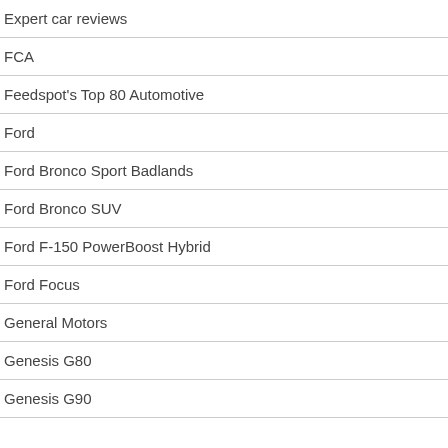Expert car reviews
FCA
Feedspot's Top 80 Automotive
Ford
Ford Bronco Sport Badlands
Ford Bronco SUV
Ford F-150 PowerBoost Hybrid
Ford Focus
General Motors
Genesis G80
Genesis G90